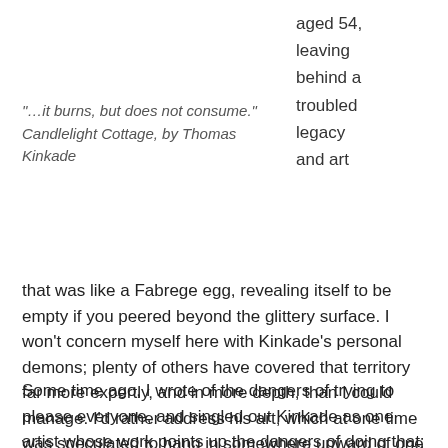aged 54, leaving behind a troubled legacy and art
"...it burns, but does not consume." Candlelight Cottage, by Thomas Kinkade
that was like a Fabrege egg, revealing itself to be empty if you peered beyond the glittery surface. I won't concern myself here with Kinkade's personal demons; plenty of others have covered that territory far more expertly, and in more depth, than I could manage. I'd rather address his art, which at one time was speculated to hang in somewhere upward of one fifth of all American homes.
Some time ago, I wrote of the dangers of trying to please everyone, and singled out Kinkade as one artist whose work points up the dangers of doing that; playing it that safe might earn you millions (indeed, Kinkade built